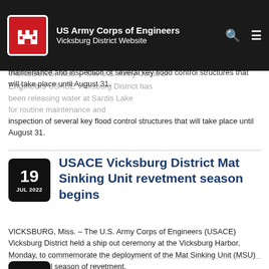US Army Corps of Engineers Vicksburg District Website
VICKSBURG, Miss. – The U.S. Army Corps of Engineers (USACE) Vicksburg District has been releasing water at Sardis Lake for routine maintenance and inspection of several key flood control structures that will take place until August 31.
USACE Vicksburg District Mat Sinking Unit revetment season begins
VICKSBURG, Miss. – The U.S. Army Corps of Engineers (USACE) Vicksburg District held a ship out ceremony at the Vicksburg Harbor, Monday, to commemorate the deployment of the Mat Sinking Unit (MSU) for its annual season of revetment.